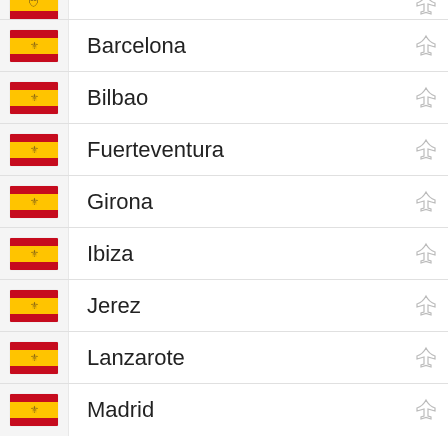Barcelona
Bilbao
Fuerteventura
Girona
Ibiza
Jerez
Lanzarote
Madrid